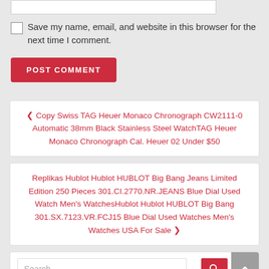Save my name, email, and website in this browser for the next time I comment.
POST COMMENT
‹ Copy Swiss TAG Heuer Monaco Chronograph CW2111-0 Automatic 38mm Black Stainless Steel WatchTAG Heuer Monaco Chronograph Cal. Heuer 02 Under $50
Replikas Hublot Hublot HUBLOT Big Bang Jeans Limited Edition 250 Pieces 301.CI.2770.NR.JEANS Blue Dial Used Watch Men's WatchesHublot Hublot HUBLOT Big Bang 301.SX.7123.VR.FCJ15 Blue Dial Used Watches Men's Watches USA For Sale ›
Search...